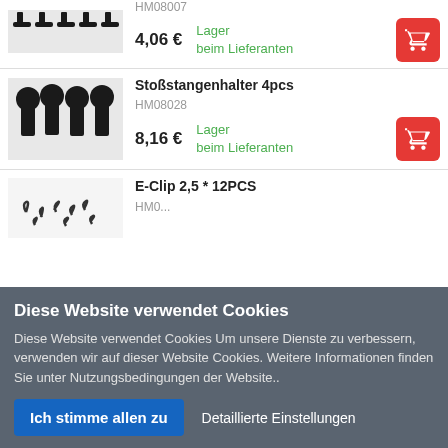[Figure (photo): Black screws/bolts product photo partial]
HM08007
4,06 €
Lager beim Lieferanten
[Figure (photo): Black socket head screws 4pcs product photo]
Stoßstangenhalter 4pcs
HM08028
8,16 €
Lager beim Lieferanten
[Figure (photo): E-clips small metal clips product photo partial]
E-Clip 2,5 * 12PCS
HM0...
Diese Website verwendet Cookies
Diese Website verwendet Cookies Um unsere Dienste zu verbessern, verwenden wir auf dieser Website Cookies. Weitere Informationen finden Sie unter Nutzungsbedingungen der Website..
Ich stimme allen zu
Detaillierte Einstellungen